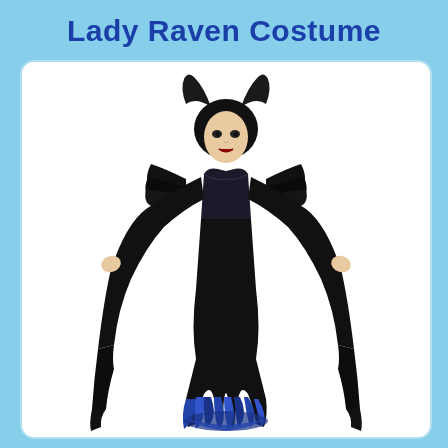Lady Raven Costume
[Figure (photo): A woman wearing a Lady Raven Halloween costume consisting of a long black form-fitting dress with a blue feathered hem at the bottom, large dramatic bat-wing-style sleeves that extend to the ground, a feathered black shoulder piece, and a black horned headpiece with dark upswept hair. The costume resembles a Maleficent-style villain outfit.]